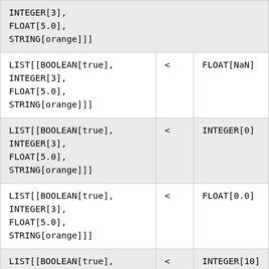| INTEGER[3],
FLOAT[5.0],
STRING[orange]]] |  |  |
| LIST[[BOOLEAN[true],
INTEGER[3],
FLOAT[5.0],
STRING[orange]]] | < | FLOAT[NaN] |
| LIST[[BOOLEAN[true],
INTEGER[3],
FLOAT[5.0],
STRING[orange]]] | < | INTEGER[0] |
| LIST[[BOOLEAN[true],
INTEGER[3],
FLOAT[5.0],
STRING[orange]]] | < | FLOAT[0.0] |
| LIST[[BOOLEAN[true],
INTEGER[3],
FLOAT[5.0] | < | INTEGER[10] |